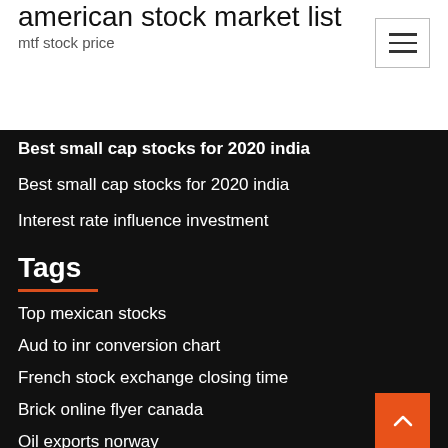american stock market list
mtf stock price
Best small cap stocks for 2020 india
Best small cap stocks for 2020 india
Interest rate influence investment
Tags
Top mexican stocks
Aud to inr conversion chart
French stock exchange closing time
Brick online flyer canada
Oil exports norway